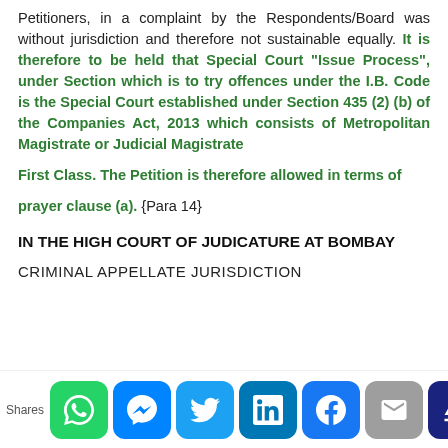Petitioners, in a complaint by the Respondents/Board was without jurisdiction and therefore not sustainable equally. It is therefore to be held that Special Court “Issue Process”, under Section which is to try offences under the I.B. Code is the Special Court established under Section 435 (2) (b) of the Companies Act, 2013 which consists of Metropolitan Magistrate or Judicial Magistrate
First Class. The Petition is therefore allowed in terms of
prayer clause (a). {Para 14}
IN THE HIGH COURT OF JUDICATURE AT BOMBAY
CRIMINAL APPELLATE JURISDICTION